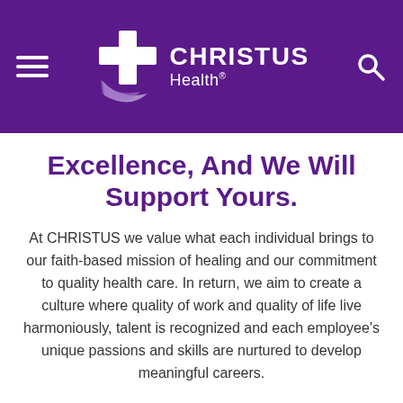[Figure (logo): CHRISTUS Health logo with purple cross icon and white text on purple header background, with hamburger menu icon on the left and search icon on the right]
Excellence, And We Will Support Yours.
At CHRISTUS we value what each individual brings to our faith-based mission of healing and our commitment to quality health care. In return, we aim to create a culture where quality of work and quality of life live harmoniously, talent is recognized and each employee's unique passions and skills are nurtured to develop meaningful careers.